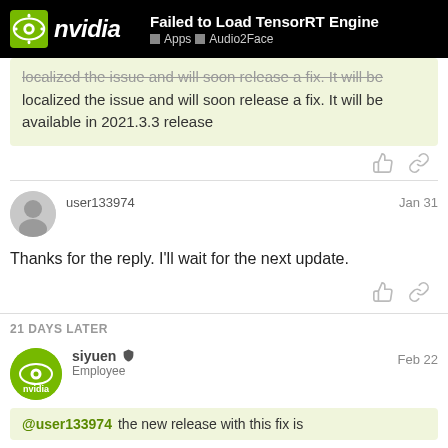Failed to Load TensorRT Engine | Apps | Audio2Face
localized the issue and will soon release a fix. It will be available in 2021.3.3 release
user133974  Jan 31
Thanks for the reply. I'll wait for the next update.
21 DAYS LATER
siyuen  Employee  Feb 22
@user133974  the new release with this fix is